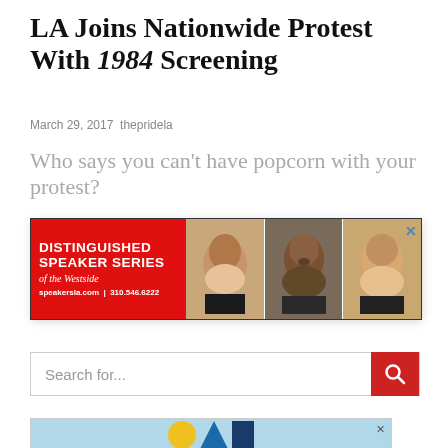LA Joins Nationwide Protest With 1984 Screening
March 29, 2017 thepridela
Who says you can't have popcorn with your protest?
[Figure (advertisement): Distinguished Speaker Series of the Westside advertisement banner. Red background on left with text 'DISTINGUISHED SPEAKER SERIES of the Westside speakersla.com | 310.546.6222', and three celebrity portrait photos on the right.]
[Figure (other): Search bar with 'Search for...' placeholder text and a red search button with magnifying glass icon.]
[Figure (advertisement): Partial advertisement banner at the bottom with a light blue background and logo shapes (circle, triangle, rectangle).]